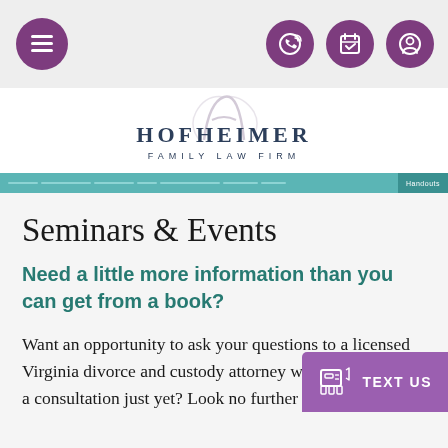[Figure (screenshot): Mobile website navigation bar with hamburger menu icon and three circular icons (phone, calendar, user) on purple/mauve background circles]
[Figure (logo): Hofheimer Family Law Firm logo with stylized H script and firm name in dark navy serif text]
Seminars & Events
Need a little more information than you can get from a book?
Want an opportunity to ask your questions to a licensed Virginia divorce and custody attorney without paying for a consultation just yet? Look no further than our super